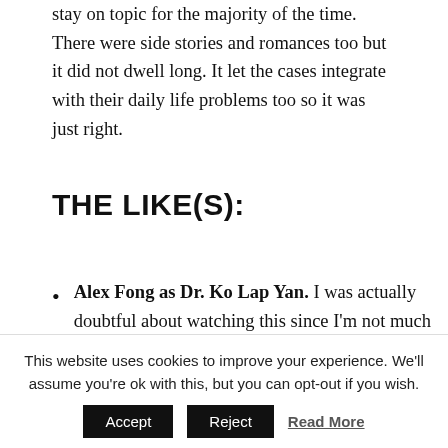stay on topic for the majority of the time. There were side stories and romances too but it did not dwell long. It let the cases integrate with their daily life problems too so it was just right.
THE LIKE(S):
Alex Fong as Dr. Ko Lap Yan. I was actually doubtful about watching this since I'm not much of an Alex fan or think much about his acting. However, I admit he does have it to pull through, making us love him at times as the brilliant doctor
This website uses cookies to improve your experience. We'll assume you're ok with this, but you can opt-out if you wish.